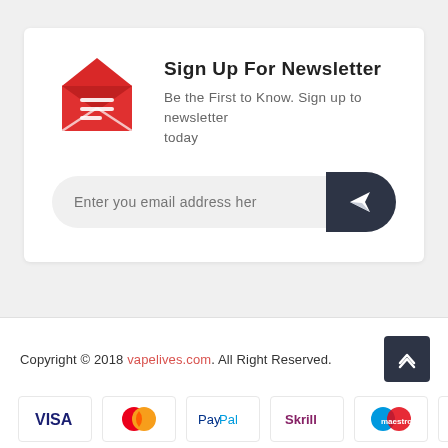Sign Up For Newsletter
Be the First to Know. Sign up to newsletter today
Enter you email address her
Copyright © 2018 vapelives.com. All Right Reserved.
[Figure (logo): Payment icons: VISA, MasterCard, PayPal, Skrill, Maestro, VISA Electron]